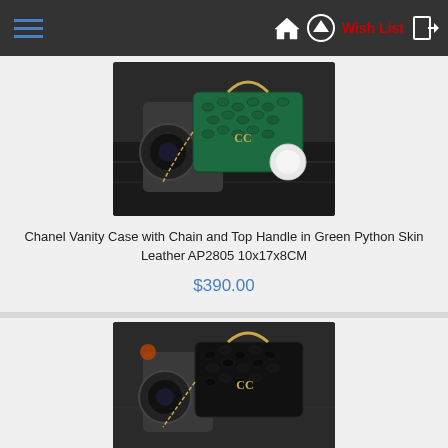Navigation bar with hamburger menu, home icon, up icon, Wish List, and login icon
[Figure (photo): Chanel green python skin vanity case with chain and top handle, photographed in a car interior]
Chanel Vanity Case with Chain and Top Handle in Green Python Skin Leather AP2805 10x17x8CM
$390.00
[Figure (photo): Chanel black python skin vanity case with chain and top handle, photographed in a car interior]